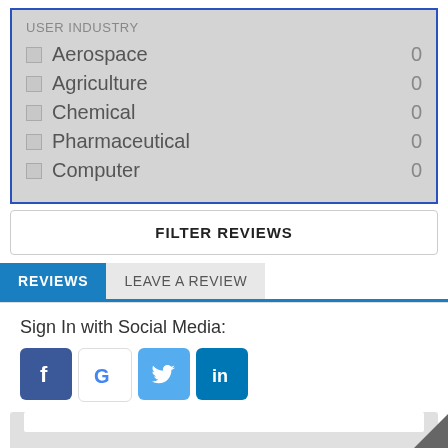USER INDUSTRY
Aerospace  0
Agriculture  0
Chemical  0
Pharmaceutical  0
Computer  0
FILTER REVIEWS
REVIEWS
LEAVE A REVIEW
Sign In with Social Media:
[Figure (screenshot): Social media login icons: Facebook (f), Google (G), Twitter (bird), LinkedIn (in)]